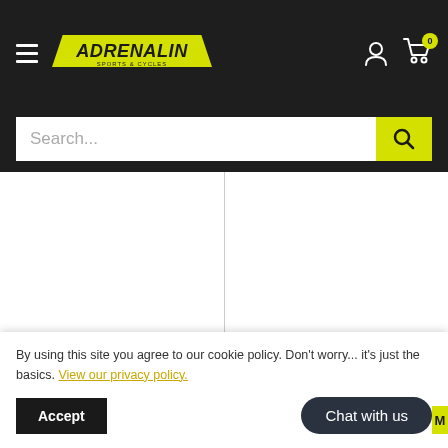[Figure (screenshot): Adrenalin Sports & Cycles website header with dark navbar, hamburger menu, Adrenalin logo in yellow, user account icon, and shopping cart icon with '0' badge]
[Figure (screenshot): Search bar with placeholder text 'Search...' and yellow search button with magnifying glass icon]
ATAK
Atak Compression Shirt Adult
ATAK
Atak Compression
By using this site you agree to our cookie policy. Don't worry... it's just the basics. View our privacy policy.
Accept
Chat with us